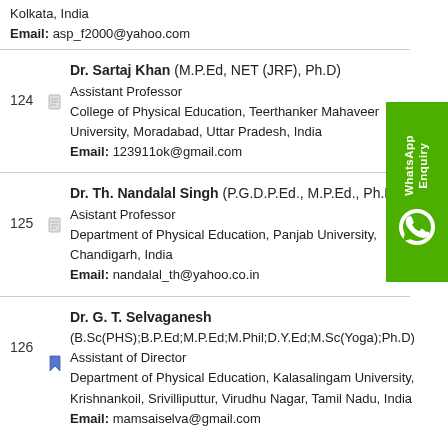Kolkata, India
Email: asp_f2000@yahoo.com
124 Dr. Sartaj Khan (M.P.Ed, NET (JRF), Ph.D)
Assistant Professor
College of Physical Education, Teerthanker Mahaveer University, Moradabad, Uttar Pradesh, India
Email: 123911ok@gmail.com
125 Dr. Th. Nandalal Singh (P.G.D.P.Ed., M.P.Ed., Ph.D)
Asistant Professor
Department of Physical Education, Panjab University, Chandigarh, India
Email: nandalal_th@yahoo.co.in
126 Dr. G. T. Selvaganesh
(B.Sc(PHS);B.P.Ed;M.P.Ed;M.Phil;D.Y.Ed;M.Sc(Yoga);Ph.D)
Assistant of Director
Department of Physical Education, Kalasalingam University, Krishnankoil, Srivilliputtur, Virudhu Nagar, Tamil Nadu, India
Email: mamsaiselva@gmail.com
[Figure (other): WhatsApp Enquiry green badge with WhatsApp logo icon]